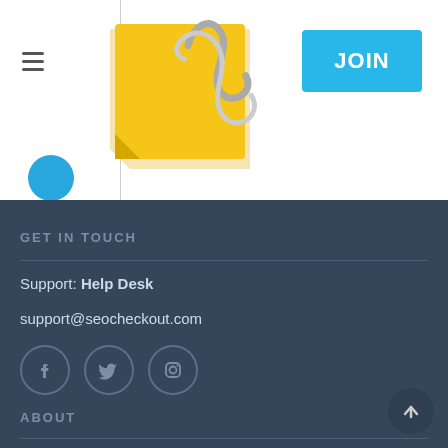[Figure (screenshot): Website header area with hamburger menu icon, yellow sticky note with paperclip icon, JOIN button, and blue avatar circle]
GET IN TOUCH
Support: Help Desk
support@seocheckout.com
[Figure (illustration): Social media icons: Facebook, Twitter, Instagram in circular outlines]
ABOUT